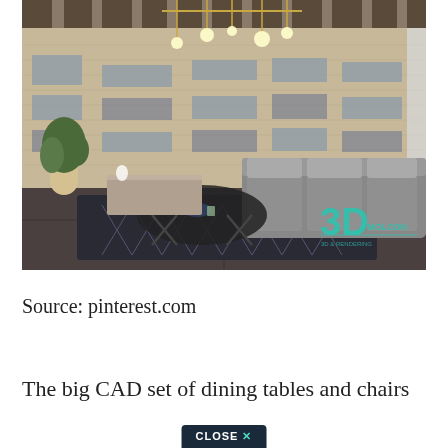[Figure (photo): Interior design photo of a modern living room with wood-paneled wall featuring mirror insets, large sectional gray sofa, geometric coffee table, patterned dark rug, pendant lights, and indoor plant. A '3D' watermark logo is visible in the bottom-right corner.]
Source: pinterest.com
The big CAD set of dining tables and chairs